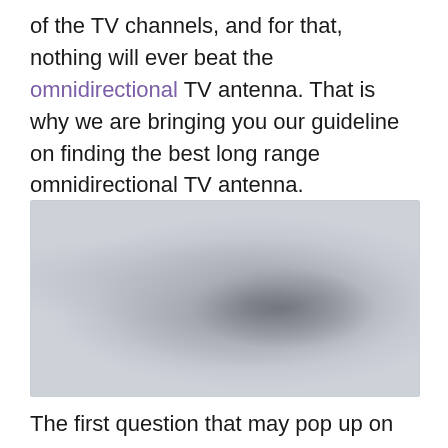of the TV channels, and for that, nothing will ever beat the omnidirectional TV antenna. That is why we are bringing you our guideline on finding the best long range omnidirectional TV antenna.
[Figure (photo): A blurred/placeholder image showing a gray blurred background, likely showing a TV antenna product photo that has been blurred out.]
The first question that may pop up on your